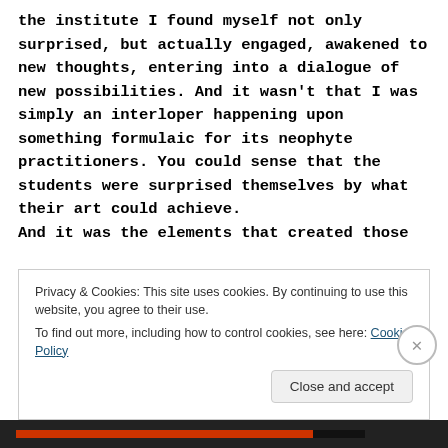the institute I found myself not only surprised, but actually engaged, awakened to new thoughts, entering into a dialogue of new possibilities. And it wasn't that I was simply an interloper happening upon something formulaic for its neophyte practitioners. You could sense that the students were surprised themselves by what their art could achieve.
And it was the elements that created those
Privacy & Cookies: This site uses cookies. By continuing to use this website, you agree to their use.
To find out more, including how to control cookies, see here: Cookie Policy